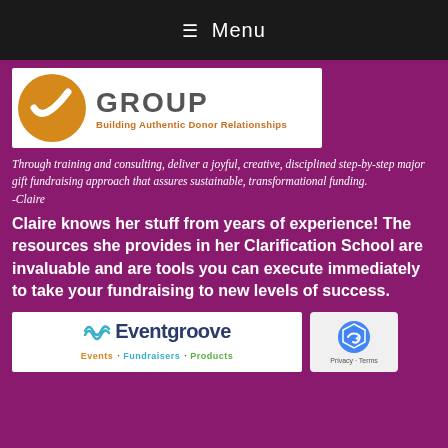☰ Menu
[Figure (logo): Clarification Group logo with orange circle/checkmark and text 'GROUP — Building Authentic Donor Relationships']
Through training and consulting, deliver a joyful, creative, disciplined step-by-step major gift fundraising approach that assures sustainable, transformational funding.
-Claire
Claire knows her stuff from years of experience! The resources she provides in her Clarification School are invaluable and are tools you can execute immediately to take your fundraising to new levels of success.
[Figure (logo): Eventgroove logo: Events · Fundraisers · Products]
[Figure (other): reCAPTCHA badge showing Privacy and Terms]